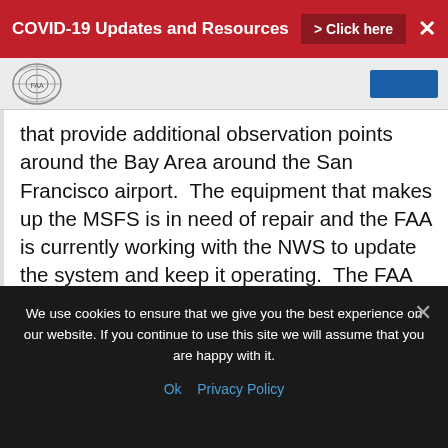COVID-19 Updates and Resources > Click here ✕
[Figure (logo): FAA or government agency circular logo/seal, partially visible]
that provide additional observation points around the Bay Area around the San Francisco airport.  The equipment that makes up the MSFS is in need of repair and the FAA is currently working with the NWS to update the system and keep it operating.  The FAA has begun to interview users of the MSFS to gather feedback to support and incorporate into the updated system.  Early next year, the team will contact controllers from various facilities that
We use cookies to ensure that we give you the best experience on our website. If you continue to use this site we will assume that you are happy with it.
Ok   Privacy Policy